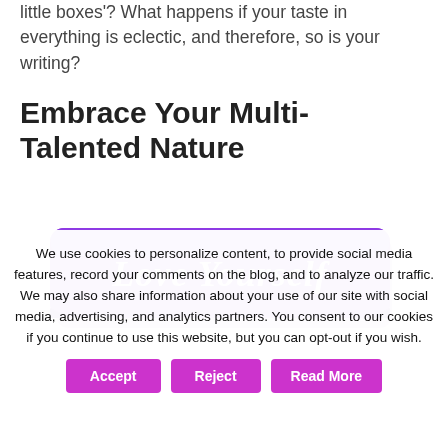little boxes'? What happens if your taste in everything is eclectic, and therefore, so is your writing?
Embrace Your Multi-Talented Nature
[Figure (illustration): Purple banner/button graphic with italic script text reading 'Love Yourself' in white on a purple rounded rectangle with a ribbon/banner style effect.]
We use cookies to personalize content, to provide social media features, record your comments on the blog, and to analyze our traffic. We may also share information about your use of our site with social media, advertising, and analytics partners. You consent to our cookies if you continue to use this website, but you can opt-out if you wish.
Accept
Reject
Read More